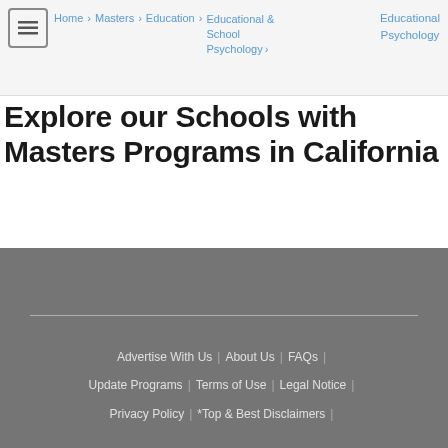Home > Masters > Education > Educational & School Psychology > Educational Psychology
Explore our Schools with Masters Programs in California
Loading...
Loading...
Advertise With Us | About Us | FAQs | Update Programs | Terms of Use | Legal Notice | Privacy Policy | *Top & Best Disclaimers |